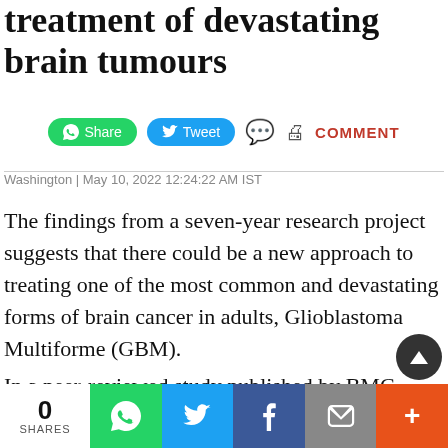treatment of devastating brain tumours
Washington | May 10, 2022 12:24:22 AM IST
The findings from a seven-year research project suggests that there could be a new approach to treating one of the most common and devastating forms of brain cancer in adults, Glioblastoma Multiforme (GBM).
In a peer-reviewed study published by BMC Cancer, scientists from the University of Surrey show that a short